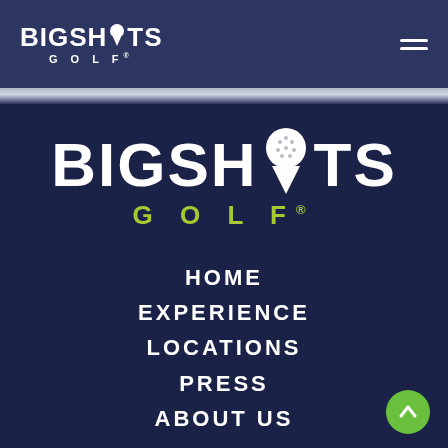[Figure (logo): BigShots Golf logo in header: BIGSHOTS text with golf ball replacing O, GOLF subtitle below, white on dark blue background]
[Figure (other): Hamburger menu icon (three horizontal lines) in top right corner]
[Figure (other): Thin horizontal stripe separating header from main content area]
[Figure (logo): Large BigShots Golf logo centered on dark navy background: BIGSHOTS in large white bold text with golf ball pin replacing O, GOLF in green text below]
HOME
EXPERIENCE
LOCATIONS
PRESS
ABOUT US